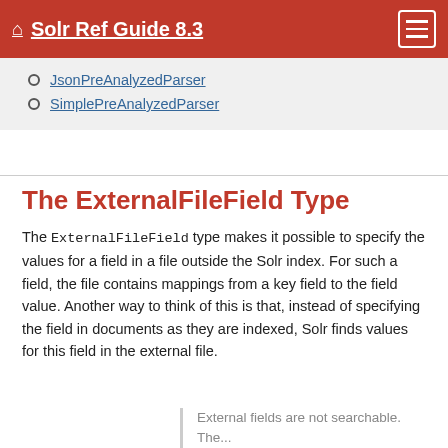Solr Ref Guide 8.3
JsonPreAnalyzedParser
SimplePreAnalyzedParser
The ExternalFileField Type
The ExternalFileField type makes it possible to specify the values for a field in a file outside the Solr index. For such a field, the file contains mappings from a key field to the field value. Another way to think of this is that, instead of specifying the field in documents as they are indexed, Solr finds values for this field in the external file.
External fields are not searchable. The...